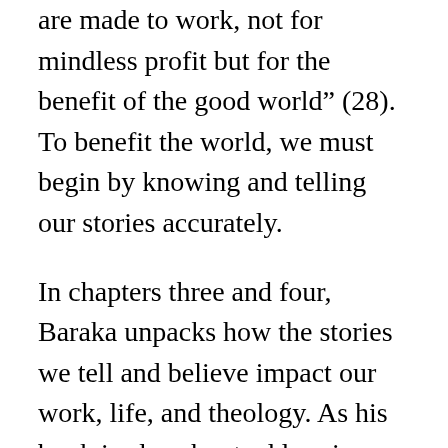are made to work, not for mindless profit but for the benefit of the good world” (28). To benefit the world, we must begin by knowing and telling our stories accurately.
In chapters three and four, Baraka unpacks how the stories we tell and believe impact our work, life, and theology. As his book is also about addressing racial issues, Baraka’s illustrations center around the Black community. He illustrates how Black theology and churches have grown and adapted from mucky plantation soil. He